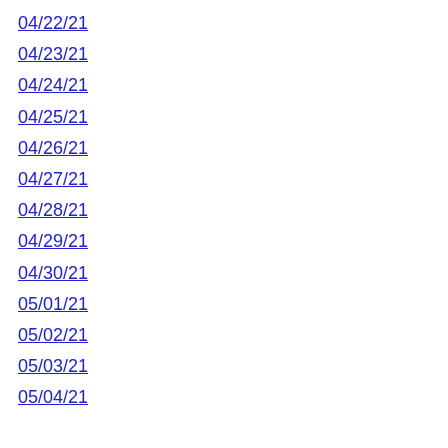04/22/21
04/23/21
04/24/21
04/25/21
04/26/21
04/27/21
04/28/21
04/29/21
04/30/21
05/01/21
05/02/21
05/03/21
05/04/21